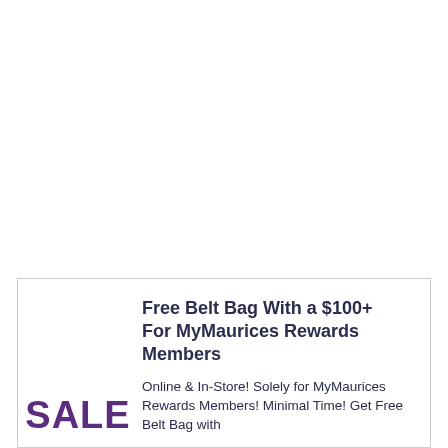Free Belt Bag With a $100+ For MyMaurices Rewards Members
Online & In-Store! Solely for MyMaurices Rewards Members! Minimal Time! Get Free Belt Bag with